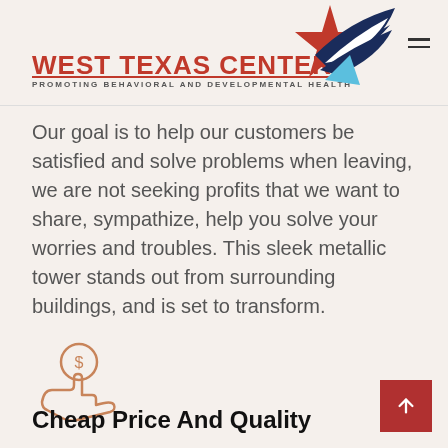[Figure (logo): West Texas Centers logo with red star and dark blue/light blue wing graphic]
Our goal is to help our customers be satisfied and solve problems when leaving, we are not seeking profits that we want to share, sympathize, help you solve your worries and troubles. This sleek metallic tower stands out from surrounding buildings, and is set to transform.
[Figure (illustration): Hand holding a dollar coin icon in outline/copper color]
Cheap Price And Quality
We assure our customers that our company has a very reasonable price, keeping customers is criteria.